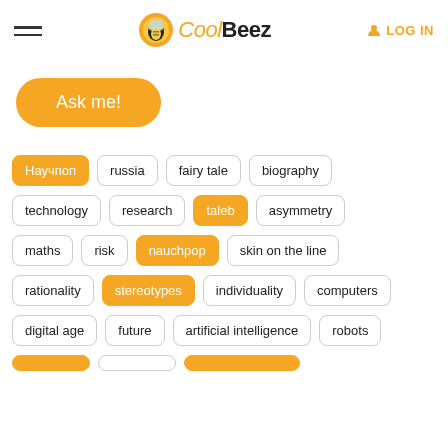CoolBeez — LOG IN
Ask me!
Научпоп
russia
fairy tale
biography
technology
research
taleb
asymmetry
maths
risk
nauchpop
skin on the line
rationality
stereotypes
individuality
computers
digital age
future
artificial intelligence
robots